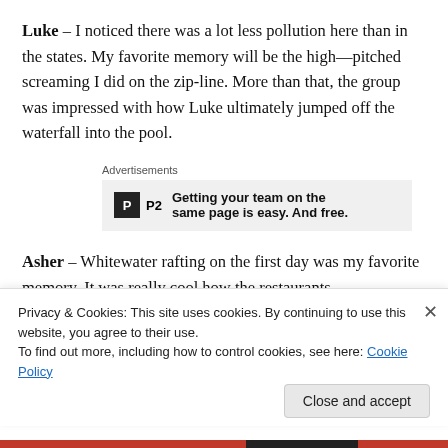Luke – I noticed there was a lot less pollution here than in the states. My favorite memory will be the high—pitched screaming I did on the zip-line. More than that, the group was impressed with how Luke ultimately jumped off the waterfall into the pool.
[Figure (other): Advertisement block: P2 logo with tagline 'Getting your team on the same page is easy. And free.']
Asher – Whitewater rafting on the first day was my favorite memory. It was really cool how the restaurants
Privacy & Cookies: This site uses cookies. By continuing to use this website, you agree to their use. To find out more, including how to control cookies, see here: Cookie Policy. [Close and accept button]